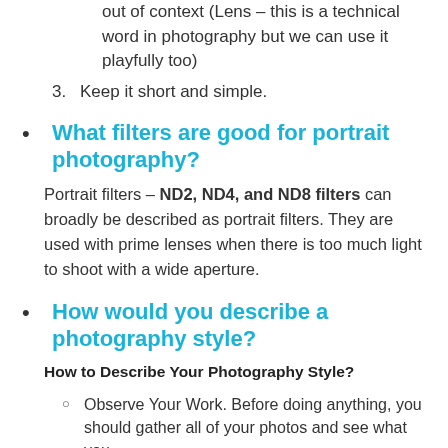out of context (Lens – this is a technical word in photography but we can use it playfully too)
3. Keep it short and simple.
What filters are good for portrait photography?
Portrait filters – ND2, ND4, and ND8 filters can broadly be described as portrait filters. They are used with prime lenses when there is too much light to shoot with a wide aperture.
How would you describe a photography style?
How to Describe Your Photography Style?
Observe Your Work. Before doing anything, you should gather all of your photos and see what you